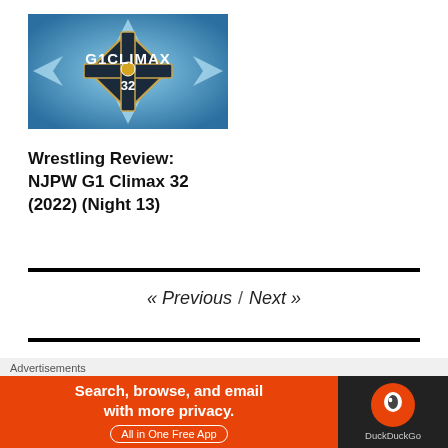[Figure (logo): G1 Climax 32 tournament logo on blue ice background]
Wrestling Review: NJPW G1 Climax 32 (2022) (Night 13)
« Previous / Next »
1 C...
[Figure (screenshot): DuckDuckGo advertisement banner: Search, browse, and email with more privacy. All in One Free App. DuckDuckGo logo on dark background.]